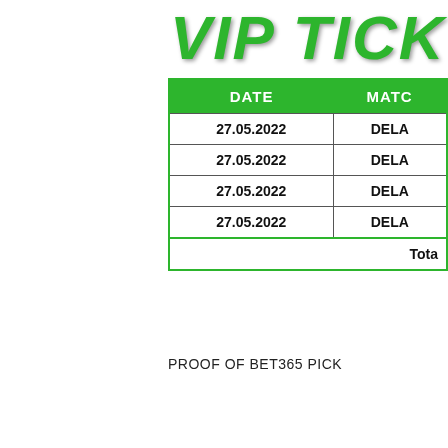VIP TICK
| DATE | MATC |
| --- | --- |
| 27.05.2022 | DELA |
| 27.05.2022 | DELA |
| 27.05.2022 | DELA |
| 27.05.2022 | DELA |
| Tota |  |
PROOF OF BET365 PICK